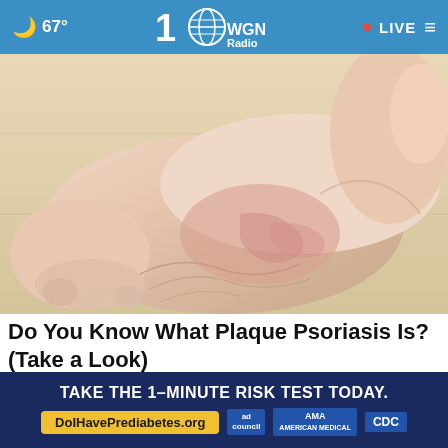🌙 67° | WGN Radio | • LIVE
[Figure (photo): Close-up photo of a human foot and ankle showing skin condition (psoriasis) with reddish, inflamed, dry skin on the heel and ankle area, held up against a light wooden floor background.]
Do You Know What Plaque Psoriasis Is? (Take a Look)
Search Plaque Psoriasis
[Figure (infographic): Advertisement banner: TAKE THE 1-MINUTE RISK TEST TODAY. DolHavePrediabetes.org — with ad council, AMA, and CDC logos.]